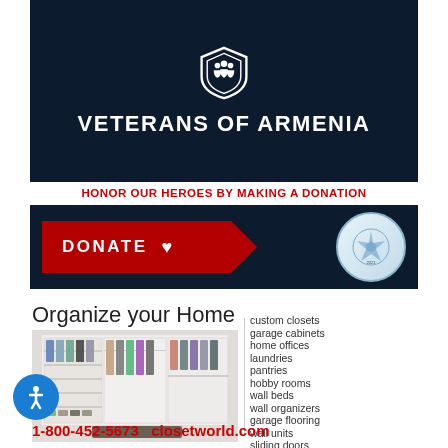[Figure (logo): Veterans of Armenia logo banner with dark navy background, shield icon at top and bold white text 'VETERANS OF ARMENIA']
HONOR OUR HEROES BY MAKING A DONATION
[Figure (infographic): Donate button banner on dark navy background with red chevron button showing DONATE with heart icon, and Guidestar Platinum Transparency 2021 badge on right]
Organize your Home
[Figure (photo): Photo of organized walk-in closet with white shelving, hanging clothes rods, and shoe storage]
custom closets
garage cabinets
home offices
laundries
pantries
hobby rooms
wall beds
wall organizers
garage flooring
wall units
sliding doors
1-800-452-5673   closetworld.com